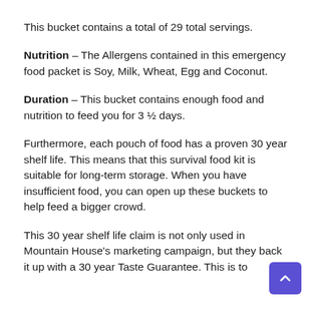This bucket contains a total of 29 total servings.
Nutrition – The Allergens contained in this emergency food packet is Soy, Milk, Wheat, Egg and Coconut.
Duration – This bucket contains enough food and nutrition to feed you for 3 ½ days.
Furthermore, each pouch of food has a proven 30 year shelf life. This means that this survival food kit is suitable for long-term storage. When you have insufficient food, you can open up these buckets to help feed a bigger crowd.
This 30 year shelf life claim is not only used in Mountain House's marketing campaign, but they back it up with a 30 year Taste Guarantee. This is to